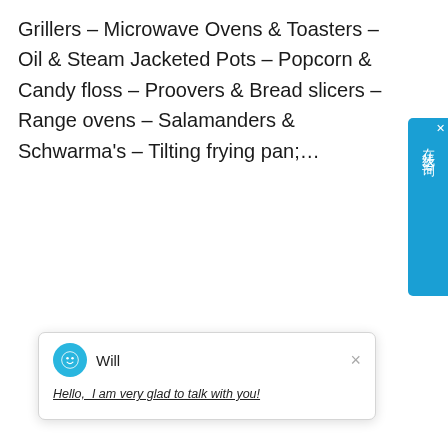Grillers - Microwave Ovens & Toasters - Oil & Steam Jacketed Pots - Popcorn & Candy floss - Proovers & Bread slicers - Range ovens - Salamanders & Schwarma's - Tilting frying pan;...
[Figure (screenshot): Chinese live chat widget sidebar button with text 在线咨询 (online consultation) in blue]
[Figure (screenshot): Chat popup with avatar of Will saying: Hello, I am very glad to talk with you!]
[Figure (photo): Industrial facility photo showing metal staircases, pipes, and structures]
[Figure (infographic): Dark footer bar with Phone, Email, and Whatsapp contact buttons, plus a blue notification badge showing number 1]